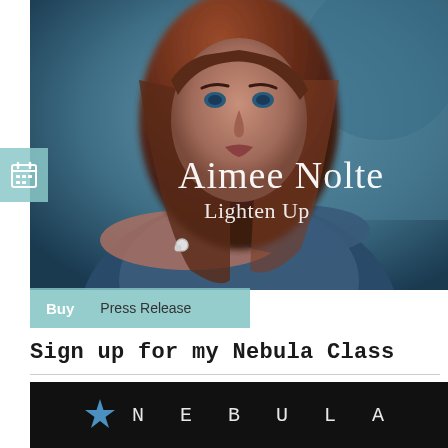[Figure (photo): Album cover photo of Aimee Nolte with text 'Aimee Nolte' and 'Lighten Up' overlaid on a photo of a woman with long auburn hair against a blue/grey background]
Buy   Press Release
Sign up for my Nebula Class
[Figure (logo): Nebula brand logo with a blue star and the word NEBULA in spaced capital letters on a dark background]